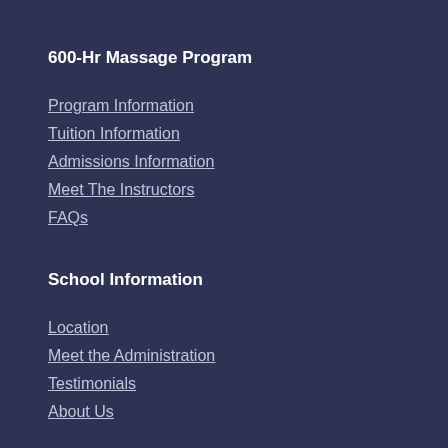600-Hr Massage Program
Program Information
Tuition Information
Admissions Information
Meet The Instructors
FAQs
School Information
Location
Meet the Administration
Testimonials
About Us
DIMS
1234 Columbia Street...